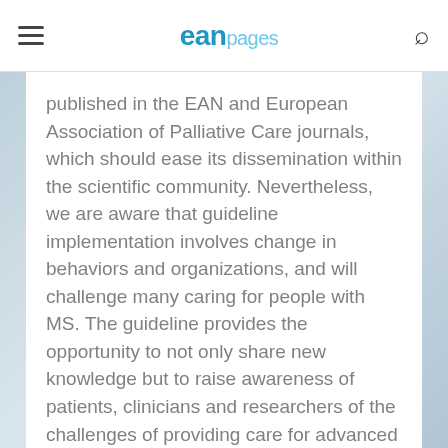eanpages
published in the EAN and European Association of Palliative Care journals, which should ease its dissemination within the scientific community. Nevertheless, we are aware that guideline implementation involves change in behaviors and organizations, and will challenge many caring for people with MS. The guideline provides the opportunity to not only share new knowledge but to raise awareness of patients, clinicians and researchers of the challenges of providing care for advanced MS – concentrating on the patients and family, with the aim of maintaining as good a quality of life as possible.
Abstract